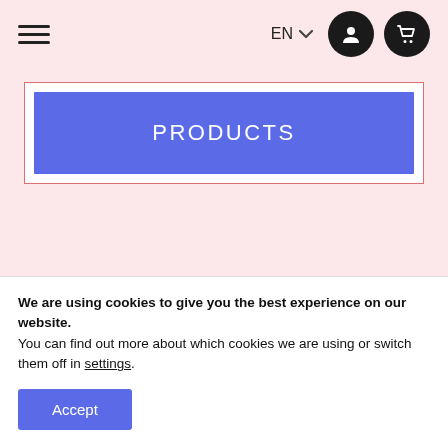EN (language selector) | user icon | cart icon
[Figure (screenshot): Navigation bar with hamburger menu, EN language selector with chevron, user account icon button (dark circle), and shopping cart icon button (dark circle)]
PRODUCTS
We are using cookies to give you the best experience on our website.
You can find out more about which cookies we are using or switch them off in settings.
Accept